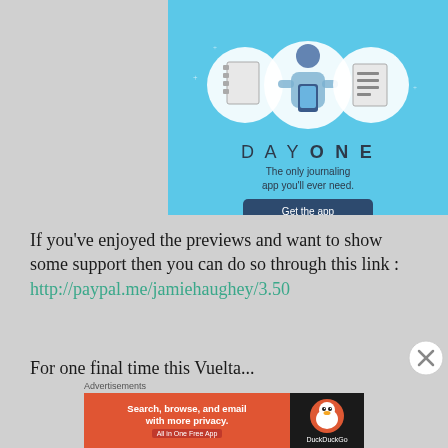[Figure (illustration): Day One journaling app advertisement banner with light blue background showing illustrated icons of a notebook, a person holding a phone, and a list/document. Text reads 'DAY ONE - The only journaling app you'll ever need.' with a dark blue 'Get the app' button.]
If you've enjoyed the previews and want to show some support then you can do so through this link : http://paypal.me/jamiehaughey/3.50
For one final time this Vuelta...
[Figure (illustration): DuckDuckGo advertisement banner. Left orange section reads 'Search, browse, and email with more privacy. All in One Free App'. Right dark section shows DuckDuckGo duck logo and text 'DuckDuckGo'.]